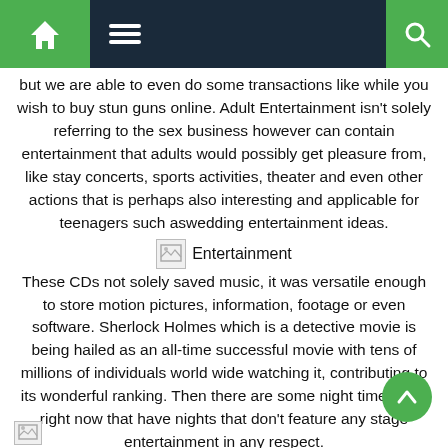Navigation bar with home, menu, and search icons
but we are able to even do some transactions like while you wish to buy stun guns online. Adult Entertainment isn't solely referring to the sex business however can contain entertainment that adults would possibly get pleasure from, like stay concerts, sports activities, theater and even other actions that is perhaps also interesting and applicable for teenagers such aswedding entertainment ideas.
[Figure (illustration): Broken image placeholder icon]
Entertainment
These CDs not solely saved music, it was versatile enough to store motion pictures, information, footage or even software. Sherlock Holmes which is a detective movie is being hailed as an all-time successful movie with tens of millions of individuals world wide watching it, contributing to its wonderful ranking. Then there are some night time clubs right now that have nights that don't feature any stage entertainment in any respect.
[Figure (illustration): Broken image placeholder icon at bottom]